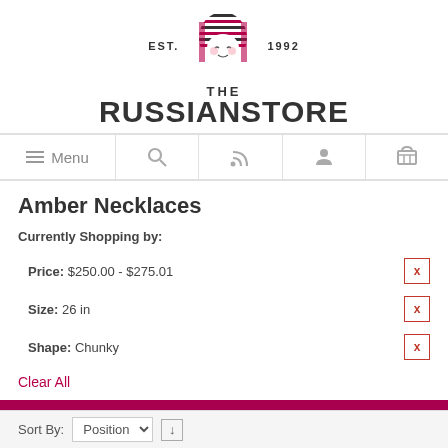[Figure (logo): The Russian Store logo: matryoshka doll mascot with 'EST. 1992' and 'THE RUSSIANSTORE' text]
Menu | Search | RSS | Account | Cart navigation bar
Amber Necklaces
Currently Shopping by:
Price: $250.00 - $275.01  X
Size: 26 in  X
Shape: Chunky  X
Clear All
▶ Filter
Sort By: Position ↓